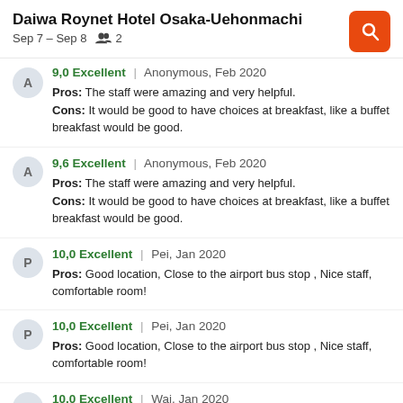Daiwa Roynet Hotel Osaka-Uehonmachi
Sep 7 – Sep 8   2
9,0 Excellent | Anonymous, Feb 2020
Pros: The staff were amazing and very helpful.
Cons: It would be good to have choices at breakfast, like a buffet breakfast would be good.
9,6 Excellent | Anonymous, Feb 2020
Pros: The staff were amazing and very helpful.
Cons: It would be good to have choices at breakfast, like a buffet breakfast would be good.
10,0 Excellent | Pei, Jan 2020
Pros: Good location, Close to the airport bus stop , Nice staff, comfortable room!
10,0 Excellent | Pei, Jan 2020
Pros: Good location, Close to the airport bus stop , Nice staff, comfortable room!
10,0 Excellent | Wai, Jan 2020
Pros: Good location, not so crowded as in Namba, Umeda yet